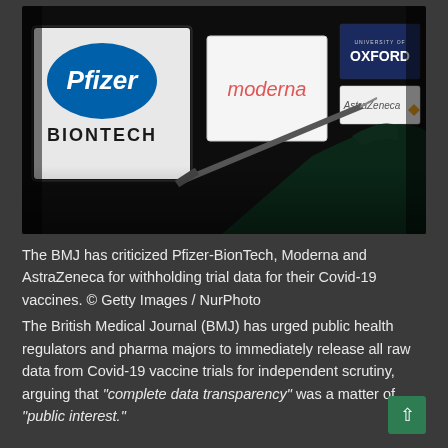[Figure (photo): Dark photograph showing a gloved hand holding a syringe in front of illuminated screens displaying logos of Pfizer-BionTech, Moderna, and University of Oxford/AstraZeneca vaccine manufacturers]
The BMJ has criticized Pfizer-BionTech, Moderna and AstraZeneca for withholding trial data for their Covid-19 vaccines. © Getty Images / NurPhoto
The British Medical Journal (BMJ) has urged public health regulators and pharma majors to immediately release all raw data from Covid-19 vaccine trials for independent scrutiny, arguing that "complete data transparency" was a matter of "public interest."